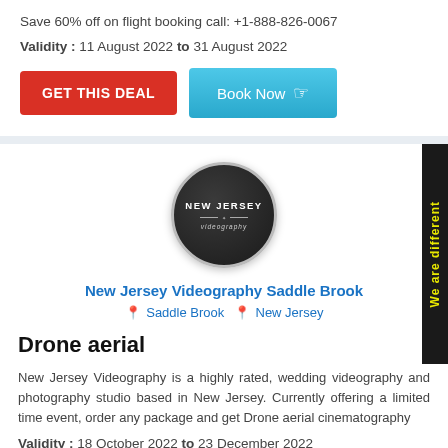Save 60% off on flight booking call: +1-888-826-0067
Validity : 11 August 2022 to 31 August 2022
[Figure (other): Two buttons: red GET THIS DEAL button and cyan Book Now button with hand pointer icon]
[Figure (logo): New Jersey Videography circular dark logo with text NEW JERSEY and videography in italic]
New Jersey Videography Saddle Brook
Saddle Brook  New Jersey
Drone aerial
New Jersey Videography is a highly rated, wedding videography and photography studio based in New Jersey. Currently offering a limited time event, order any package and get Drone aerial cinematography
Validity : 18 October 2022 to 23 December 2022